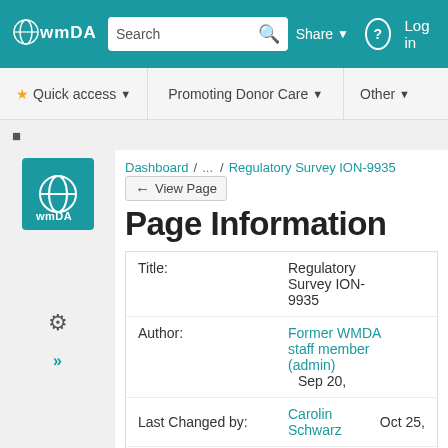WMDA Share | Search | Log in
★ Quick access ▾ | Promoting Donor Care ▾ | Other ▾
Dashboard / ... / Regulatory Survey ION-9935
Page Information
| Field | Value | Date |
| --- | --- | --- |
| Title: | Regulatory Survey ION-9935 |  |
| Author: | Former WMDA staff member (admin) | Sep 20, |
| Last Changed by: | Carolin Schwarz | Oct 25, |
| Tiny Link: (useful for email) | https://share.wmda.info/x/9Q... |  |
| Export As: | Word · PDF |  |